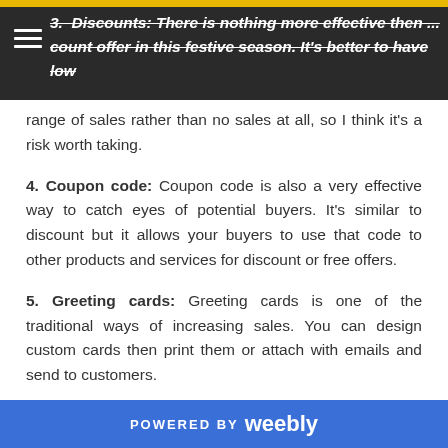3. Discounts: There is nothing more effective then... count offer in this festive season. It's better to have low range of sales rather than no sales at all, so I think it's a risk worth taking.
4. Coupon code: Coupon code is also a very effective way to catch eyes of potential buyers. It's similar to discount but it allows your buyers to use that code to other products and services for discount or free offers.
5. Greeting cards: Greeting cards is one of the traditional ways of increasing sales. You can design custom cards then print them or attach with emails and send to customers.
I hope this Christmas brings you lot more sales than before. Hope my tips help you. Don't hesitate to put a comment; your feedback is my fuel for motivation.
POWERED BY weebly